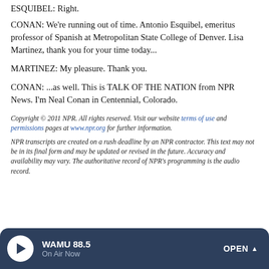ESQUIBEL: Right.
CONAN: We're running out of time. Antonio Esquibel, emeritus professor of Spanish at Metropolitan State College of Denver. Lisa Martinez, thank you for your time today...
MARTINEZ: My pleasure. Thank you.
CONAN: ...as well. This is TALK OF THE NATION from NPR News. I'm Neal Conan in Centennial, Colorado.
Copyright © 2011 NPR. All rights reserved. Visit our website terms of use and permissions pages at www.npr.org for further information.
NPR transcripts are created on a rush deadline by an NPR contractor. This text may not be in its final form and may be updated or revised in the future. Accuracy and availability may vary. The authoritative record of NPR's programming is the audio record.
WAMU 88.5 On Air Now OPEN